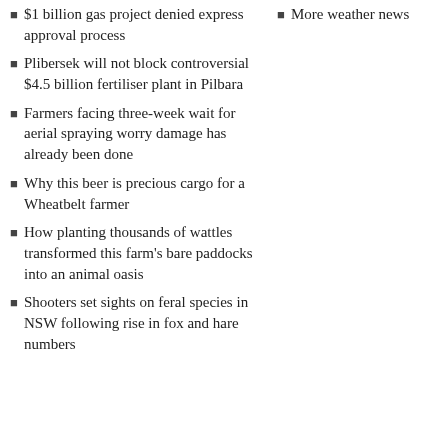$1 billion gas project denied express approval process
Plibersek will not block controversial $4.5 billion fertiliser plant in Pilbara
Farmers facing three-week wait for aerial spraying worry damage has already been done
Why this beer is precious cargo for a Wheatbelt farmer
How planting thousands of wattles transformed this farm's bare paddocks into an animal oasis
Shooters set sights on feral species in NSW following rise in fox and hare numbers
More weather news